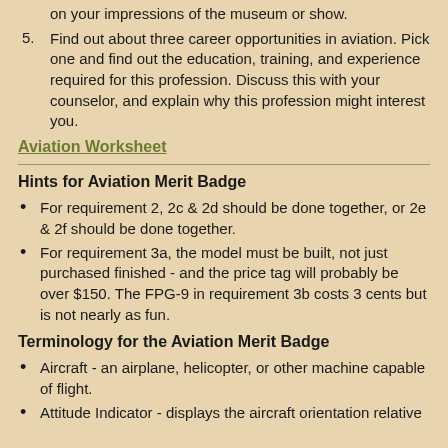on your impressions of the museum or show.
5. Find out about three career opportunities in aviation. Pick one and find out the education, training, and experience required for this profession. Discuss this with your counselor, and explain why this profession might interest you.
Aviation Worksheet
Hints for Aviation Merit Badge
For requirement 2, 2c & 2d should be done together, or 2e & 2f should be done together.
For requirement 3a, the model must be built, not just purchased finished - and the price tag will probably be over $150. The FPG-9 in requirement 3b costs 3 cents but is not nearly as fun.
Terminology for the Aviation Merit Badge
Aircraft - an airplane, helicopter, or other machine capable of flight.
Attitude Indicator - displays the aircraft orientation relative